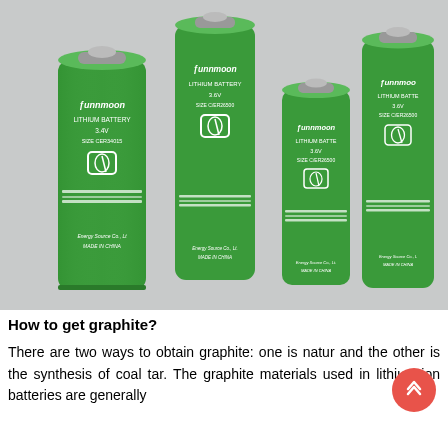[Figure (photo): Four green cylindrical lithium batteries labeled 'Sunnmoon LITHIUM BATTERY 3.6V' in various sizes arranged in a row on a light gray surface, photographed from a slightly elevated angle.]
How to get graphite?
There are two ways to obtain graphite: one is natural and the other is the synthesis of coal tar. The graphite materials used in lithium-ion batteries are generally